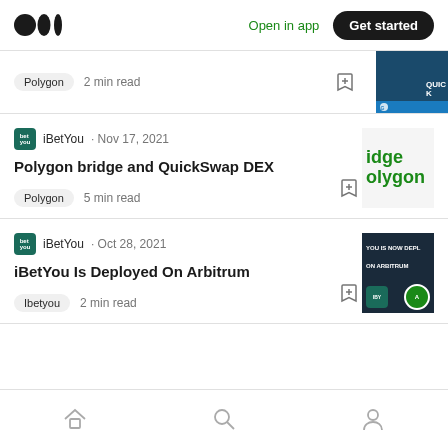Medium — Open in app | Get started
Polygon  2 min read
iBetYou · Nov 17, 2021
Polygon bridge and QuickSwap DEX
Polygon  5 min read
iBetYou · Oct 28, 2021
iBetYou Is Deployed On Arbitrum
Ibetyou  2 min read
Home | Search | Profile